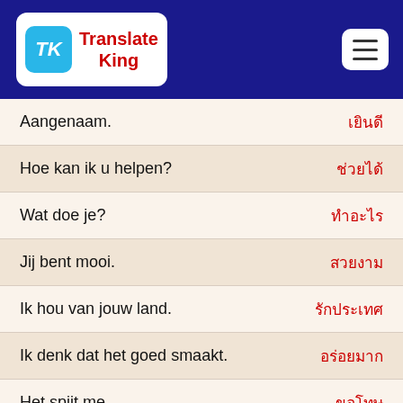TK Translate King
| Dutch | Thai |
| --- | --- |
| Aangenaam. | เยินดี |
| Hoe kan ik u helpen? | ช่วยได้ |
| Wat doe je? | ทำอะไร |
| Jij bent mooi. | สวยงาม |
| Ik hou van jouw land. | รักประเทศ |
| Ik denk dat het goed smaakt. | อร่อยมาก |
| Het spijt me. | ขอโทษ |
| Wat bedoelt u? | หมายถึง |
| Ben je morgen vrij? | ว่างพรุ่งนี้ |
| Het was leuk om met je te praten. | คุยสนุก |